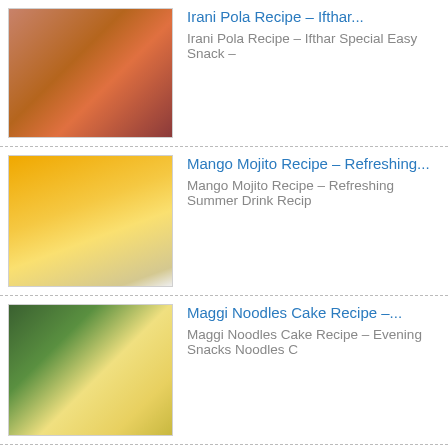Irani Pola Recipe – Ifthar... | Irani Pola Recipe – Ifthar Special Easy Snack –
Mango Mojito Recipe – Refreshing... | Mango Mojito Recipe – Refreshing Summer Drink Recip
Maggi Noodles Cake Recipe –... | Maggi Noodles Cake Recipe – Evening Snacks Noodles C
News and Events
What is an Air Fryer? What are... | What is an Air Fryer? What are the benefits of using an…more
Onam Recipes – Sadhya Vibhavangal – How... | Onam Recipes – Sadhya Vibhavangal – How to Serve Onasadhya Ona